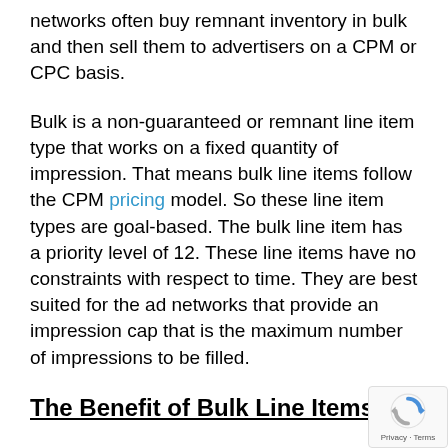networks often buy remnant inventory in bulk and then sell them to advertisers on a CPM or CPC basis.
Bulk is a non-guaranteed or remnant line item type that works on a fixed quantity of impression. That means bulk line items follow the CPM pricing model. So these line item types are goal-based. The bulk line item has a priority level of 12. These line items have no constraints with respect to time. They are best suited for the ad networks that provide an impression cap that is the maximum number of impressions to be filled.
The Benefit of Bulk Line Items